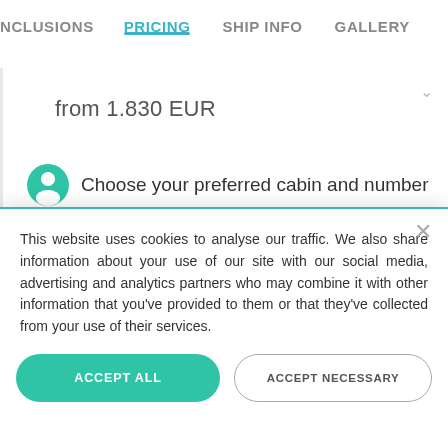NCLUSIONS  PRICING  SHIP INFO  GALLERY
from 1,830 EUR
Choose your preferred cabin and number
This website uses cookies to analyse our traffic. We also share information about your use of our site with our social media, advertising and analytics partners who may combine it with other information that you've provided to them or that they've collected from your use of their services.
ACCEPT ALL
ACCEPT NECESSARY